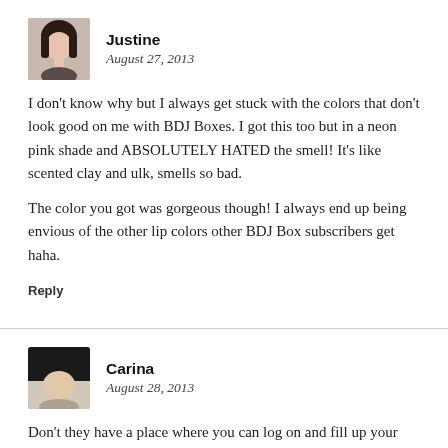[Figure (photo): Small avatar photo of commenter Justine]
Justine
August 27, 2013
I don't know why but I always get stuck with the colors that don't look good on me with BDJ Boxes. I got this too but in a neon pink shade and ABSOLUTELY HATED the smell! It's like scented clay and ulk, smells so bad.
The color you got was gorgeous though! I always end up being envious of the other lip colors other BDJ Box subscribers get haha.
Reply
[Figure (photo): Small avatar photo of commenter Carina]
Carina
August 28, 2013
Don't they have a place where you can log on and fill up your preferences? I vaguely remember that option!